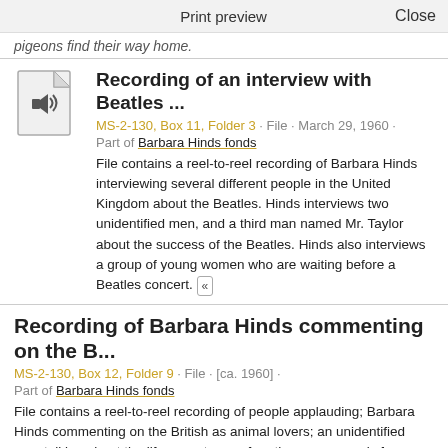Print preview    Close
pigeons find their way home.
Recording of an interview with Beatles ...
MS-2-130, Box 11, Folder 3 · File · March 29, 1960 · Part of Barbara Hinds fonds
File contains a reel-to-reel recording of Barbara Hinds interviewing several different people in the United Kingdom about the Beatles. Hinds interviews two unidentified men, and a third man named Mr. Taylor about the success of the Beatles. Hinds also interviews a group of young women who are waiting before a Beatles concert. «
Recording of Barbara Hinds commenting on the B...
MS-2-130, Box 12, Folder 9 · File · [ca. 1960] · Part of Barbara Hinds fonds
File contains a reel-to-reel recording of people applauding; Barbara Hinds commenting on the British as animal lovers; an unidentified man talking about the life expectancy of earthworms; sounds from a train station; voices from some sort of race or sports event; and a brass band playing God Save the Queen. «